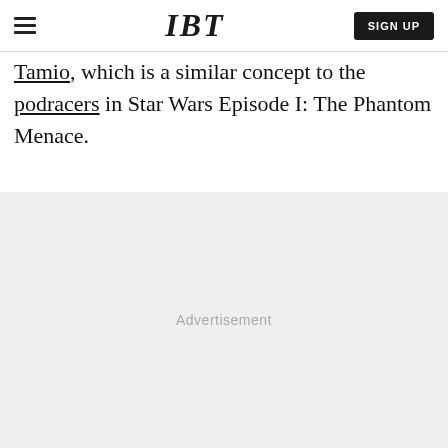IBT | SIGN UP
...Tamio, which is a similar concept to the podracers in Star Wars Episode I: The Phantom Menace.
[Figure (other): Advertisement placeholder area with light gray background and 'Advertisement' label centered]